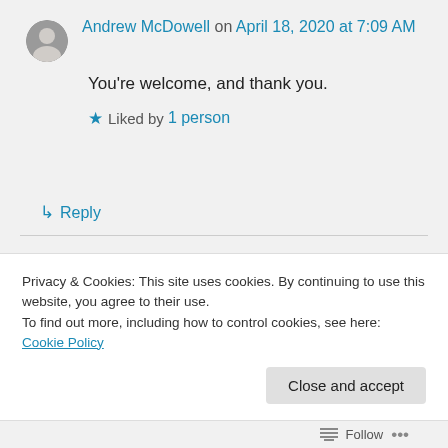Andrew McDowell on April 18, 2020 at 7:09 AM
You're welcome, and thank you.
Liked by 1 person
↳ Reply
rosejfairchild on April 18, 2020 at 11:41 AM
You're welcome! Also, I meant to
Privacy & Cookies: This site uses cookies. By continuing to use this website, you agree to their use.
To find out more, including how to control cookies, see here: Cookie Policy
Close and accept
Follow